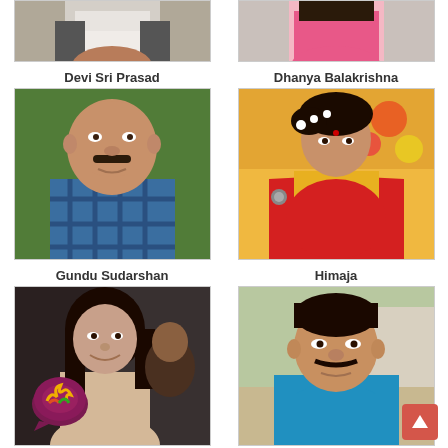[Figure (photo): Partial photo of Devi Sri Prasad (cropped, top portion only)]
[Figure (photo): Partial photo of Dhanya Balakrishna in pink outfit (cropped, top portion only)]
Devi Sri Prasad
Dhanya Balakrishna
[Figure (photo): Photo of Gundu Sudarshan, a bald middle-aged man in checkered shirt outdoors]
[Figure (photo): Photo of Himaja, a woman in red saree and yellow blouse with floral decorations]
Gundu Sudarshan
Himaja
[Figure (photo): Photo of Keerthy Suresh, a young woman in beige dress smiling at an event, with logo overlay]
[Figure (photo): Photo of Krishna Bhagwan, a man with mustache in blue shirt outdoors]
Keerthy Suresh
Krishna Bhagwan